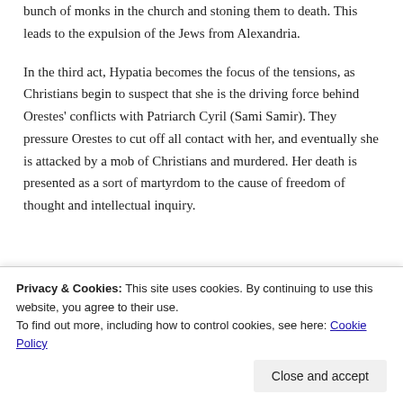bunch of monks in the church and stoning them to death. This leads to the expulsion of the Jews from Alexandria.
In the third act, Hypatia becomes the focus of the tensions, as Christians begin to suspect that she is the driving force behind Orestes' conflicts with Patriarch Cyril (Sami Samir). They pressure Orestes to cut off all contact with her, and eventually she is attacked by a mob of Christians and murdered. Her death is presented as a sort of martyrdom to the cause of freedom of thought and intellectual inquiry.
[Figure (illustration): Colorful decorative banner/strip with illustrated characters including an octopus and a frog on a gradient orange-to-green background.]
Privacy & Cookies: This site uses cookies. By continuing to use this website, you agree to their use. To find out more, including how to control cookies, see here: Cookie Policy